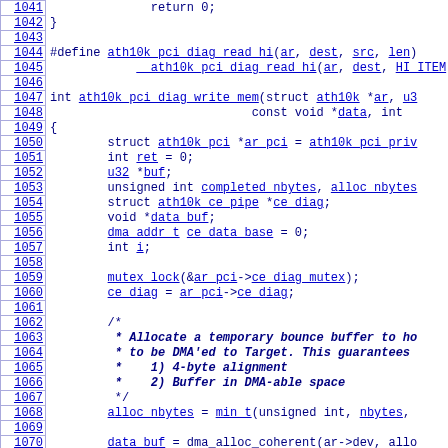[Figure (screenshot): Source code listing showing C code for ath10k PCI diagnostic functions, with line numbers 1041-1070 on the left. Contains return statement, closing brace, #define macro for ath10k_pci_diag_read_hi, and int ath10k_pci_diag_write_mem function with variable declarations and initial statements including mutex_lock, ce_diag assignment, and a block comment about allocating a temporary bounce buffer.]